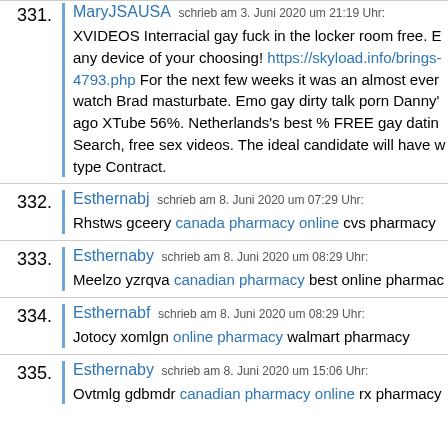331. MaryJSAUSA schrieb am 3. Juni 2020 um 21:19 Uhr: XVIDEOS Interracial gay fuck in the locker room free. E... any device of your choosing! https://skyload.info/brings-4793.php For the next few weeks it was an almost ever... watch Brad masturbate. Emo gay dirty talk porn Danny'... ago XTube 56%. Netherlands's best % FREE gay datin... Search, free sex videos. The ideal candidate will have w... type Contract.
332. Esthernabj schrieb am 8. Juni 2020 um 07:29 Uhr: Rhstws gceery canada pharmacy online cvs pharmacy...
333. Esthernaby schrieb am 8. Juni 2020 um 08:29 Uhr: Meelzo yzrqva canadian pharmacy best online pharmac...
334. Esthernabf schrieb am 8. Juni 2020 um 08:29 Uhr: Jotocy xomlgn online pharmacy walmart pharmacy
335. Esthernaby schrieb am 8. Juni 2020 um 15:06 Uhr: Ovtmlg gdbmdr canadian pharmacy online rx pharmacy...